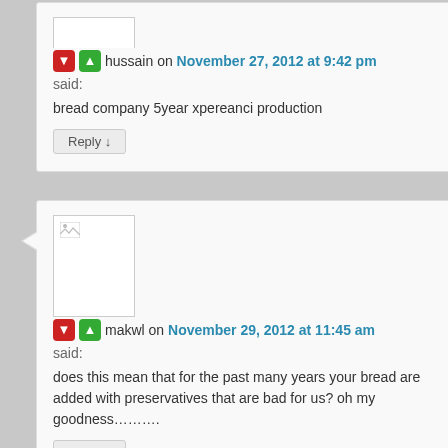hussain on November 27, 2012 at 9:42 pm
said:
bread company 5year xpereanci production
Reply ↓
makwl on November 29, 2012 at 11:45 am
said:
does this mean that for the past many years your bread are added with preservatives that are bad for us? oh my goodness……….
Reply ↓